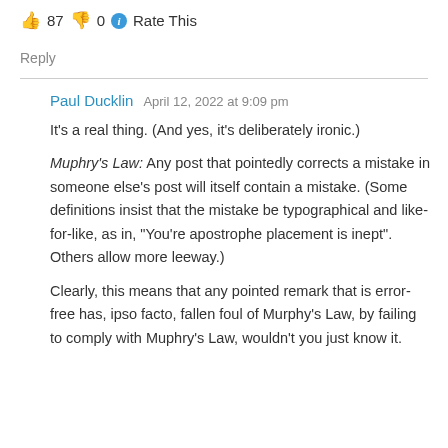👍 87 👎 0 ℹ Rate This
Reply
Paul Ducklin   April 12, 2022 at 9:09 pm
It's a real thing. (And yes, it's deliberately ironic.)
Muphry's Law: Any post that pointedly corrects a mistake in someone else's post will itself contain a mistake. (Some definitions insist that the mistake be typographical and like-for-like, as in, "You're apostrophe placement is inept". Others allow more leeway.)
Clearly, this means that any pointed remark that is error-free has, ipso facto, fallen foul of Murphy's Law, by failing to comply with Muphry's Law, wouldn't you just know it.